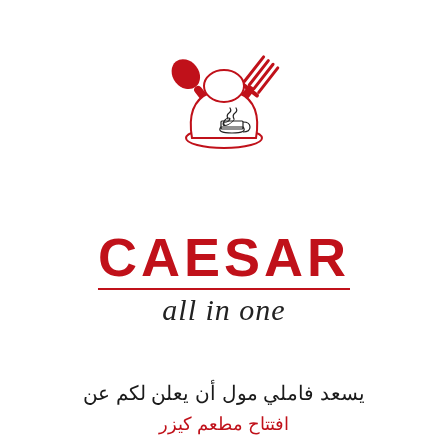[Figure (logo): Caesar All in One restaurant logo: a chef hat with a decorative coffee cup swirl, crossed fork and spoon in red, forming a stylized emblem]
CAESAR
all in one
يسعد فاملي مول أن يعلن لكم عن